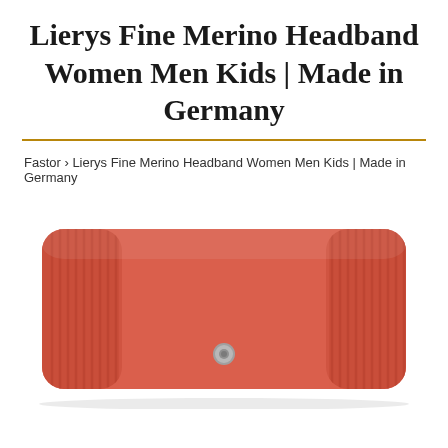Lierys Fine Merino Headband Women Men Kids | Made in Germany
Fastor › Lierys Fine Merino Headband Women Men Kids | Made in Germany
[Figure (photo): A red/coral knitted merino wool headband laid flat, showing ribbed texture on the sides and a smooth center panel with a small metal snap button.]